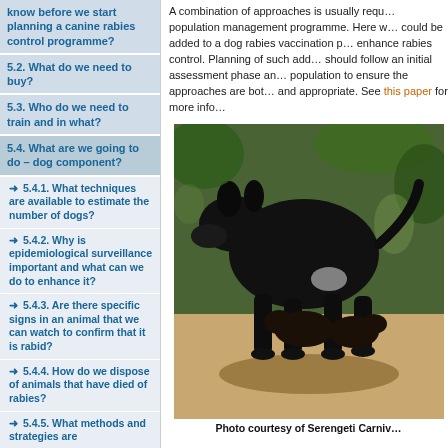know before we start planning a canine rabies control programme?
5.2. What do we need to buy?
5.3. Who do we need to train and in what?
5.4. What are we going to do – dog component?
→ 5.4.1. What techniques are available to estimate the number of dogs?
→ 5.4.2. Why is epidemiological surveillance important and what can we do to enhance it?
→ 5.4.3. Are there specific signs in an animal that we can watch to confirm that it is rabid?
→ 5.4.4. How do we dispose of animals that have died of rabies?
→ 5.4.5. What methods and strategies are
A combination of approaches is usually required for a dog population management programme. Here we describe methods that could be added to a dog rabies vaccination programme to enhance rabies control. Planning of such additional measures should follow an initial assessment phase and be tailored to the population to ensure the approaches are both feasible and appropriate. See this paper for more info
[Figure (photo): A black dog with puppies, photographed outdoors in dappled shade. Photo courtesy of Serengeti Carniv[ore Research Project]]
Photo courtesy of Serengeti Carniv[ore Research Project]